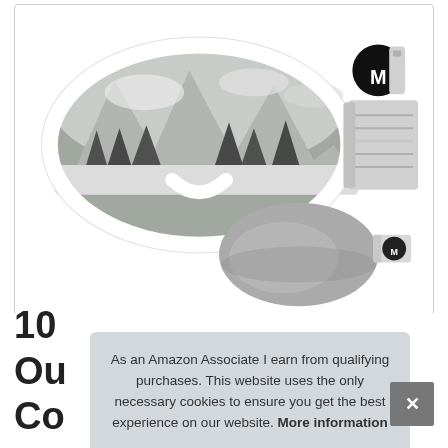[Figure (photo): Product photo of white ski goggles with mirrored mountain-scene lens and adjustable strap with M logo, plus a separate oval grey lens cover accessory below and to the right]
10
Ou
Co
As an Amazon Associate I earn from qualifying purchases. This website uses the only necessary cookies to ensure you get the best experience on our website. More information